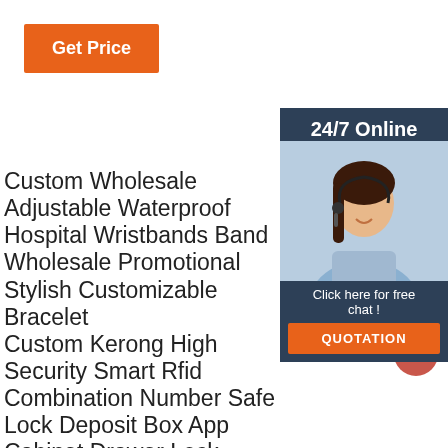[Figure (infographic): Orange 'Get Price' button]
[Figure (infographic): Sidebar with '24/7 Online' header, photo of woman with headset, 'Click here for free chat!' text, and orange QUOTATION button]
Custom Wholesale Adjustable Waterproof Hospital Wristbands Band
Wholesale Promotional Stylish Customizable Bracelet
Custom Kerong High Security Smart Rfid Combination Number Safe Lock Deposit Box App Cabinet Drawer Lock
Intelligent Hot Sales Christmas Gifts Custom Wristband Fabric
Adjustable High Levels Security Eco-Friendly Mifare Ultralight Ev1 Rfid Fabric Wristband Payment
The New Tk28 Id Card Inkjet Print Pvc Plastic Blank Rfid Id Card
Intelligent Watch Type Rifd Wristband Access Control Environmentally Friendly 13.56mhz Hf Rfid Blank Pvc